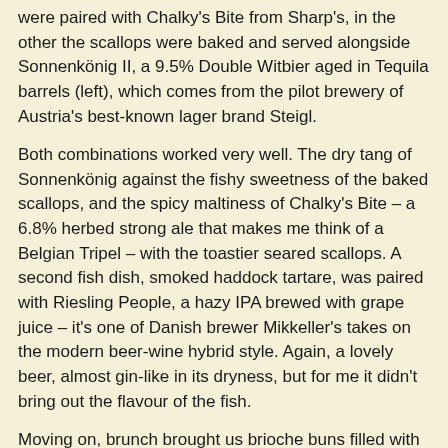were paired with Chalky's Bite from Sharp's, in the other the scallops were baked and served alongside Sonnenkönig II, a 9.5% Double Witbier aged in Tequila barrels (left), which comes from the pilot brewery of Austria's best-known lager brand Steigl.
Both combinations worked very well. The dry tang of Sonnenkönig against the fishy sweetness of the baked scallops, and the spicy maltiness of Chalky's Bite – a 6.8% herbed strong ale that makes me think of a Belgian Tripel – with the toastier seared scallops. A second fish dish, smoked haddock tartare, was paired with Riesling People, a hazy IPA brewed with grape juice – it's one of Danish brewer Mikkeller's takes on the modern beer-wine hybrid style. Again, a lovely beer, almost gin-like in its dryness, but for me it didn't bring out the flavour of the fish.
Moving on, brunch brought us brioche buns filled with bacon, cheese and egg, paired with Boon Oude Geuze Black Label. This is a stunningly good beer, the driest Geuze that Boon produces, and it did a great job of contrasting with the lightly fatty and salty character of the bacon and cheese. I'll try to